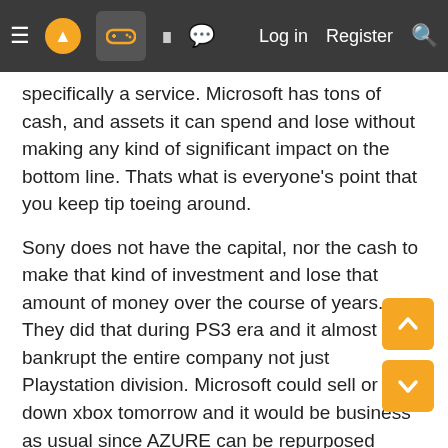Navigation bar with menu, logo, gamepad icon, grid icon, chat icon, Log in, Register, Search
specifically a service. Microsoft has tons of cash, and assets it can spend and lose without making any kind of significant impact on the bottom line. Thats what is everyone's point that you keep tip toeing around.
Sony does not have the capital, nor the cash to make that kind of investment and lose that amount of money over the course of years. They did that during PS3 era and it almost bankrupt the entire company not just Playstation division. Microsoft could sell or shut down xbox tomorrow and it would be business as usual since AZURE can be repurposed throughout the company. Sony can not take a loss like that was everyone's point.
Amount of spending Microsoft has done in the past 3-4 years is insane, and it's to an amount that no one in the gaming industry can match because of their capital not being even a fraction of what Microsoft's is.